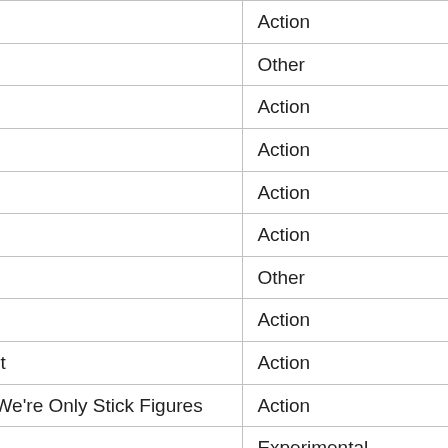| Title | Genre |
| --- | --- |
| Killing Spree 1 | Action |
| Fiction Factory | Other |
| Escape From Greenville | Action |
| Demonology | Action |
| Crackhouse Cleanup Part 2 | Action |
| Crackhouse Cleanup | Action |
| City Race | Other |
| Bow | Action |
| Body Count With Special Quest SuperBeast | Action |
| Bluce Ree Episode 1: Everything's Fine ... We're Only Stick Figures | Action |
| Bendy's Caramelldansen | Experimental |
| Becoming Unglued | Action |
| Agent Smiley | Action |
| 5MOCA/Five Minutes Of | Action |